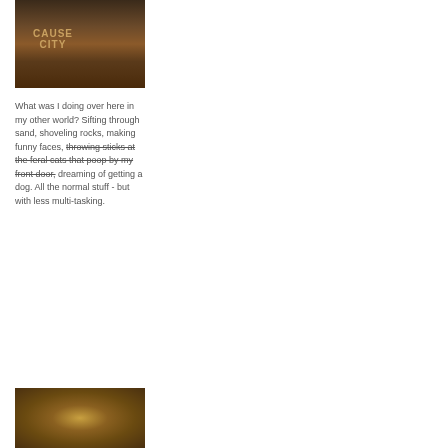[Figure (photo): Person wearing a dark brown graphic t-shirt, upper body shot, appears to be outdoors]
What was I doing over here in my other world? Sifting through sand, shoveling rocks, making funny faces, throwing sticks at the feral cats that poop by my front door, dreaming of getting a dog. All the normal stuff - but with less multi-tasking.
[Figure (photo): Close-up photo of what appears to be an animal, brown and textured]